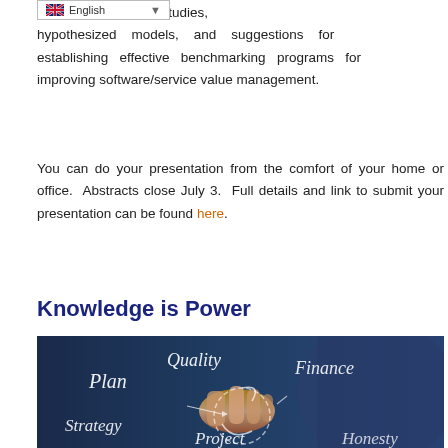ons: e.g. empirical studies, hypothesized models, and suggestions for establishing effective benchmarking programs for improving software/service value management.
You can do your presentation from the comfort of your home or office. Abstracts close July 3. Full details and link to submit your presentation can be found here.
Knowledge is Power
[Figure (photo): Business concept image showing a person's hand with words written in white script on a dark blue background: Plan, Quality, Finance, Strategy, Project, Honesty (partially visible)]